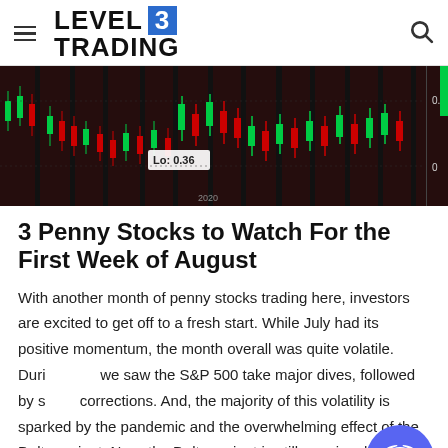LEVEL 3 TRADING
[Figure (screenshot): Stock candlestick chart on dark background showing volatile price action with 'Lo: 0.36' label visible, green and red candles, year markers around 2020, right axis showing 0.5 and 0 levels.]
3 Penny Stocks to Watch For the First Week of August
With another month of penny stocks trading here, investors are excited to get off to a fresh start. While July had its positive momentum, the month overall was quite volatile. During July, we saw the S&P 500 take major dives, followed by sharp corrections. And, the majority of this volatility is sparked by the pandemic and the overwhelming effect of the Delta variant. Now, the Delta variant is still ongoing, however, it seems as